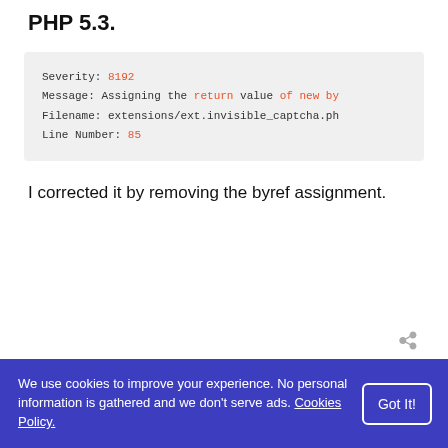PHP 5.3.
Severity: 8192
Message: Assigning the return value of new by
Filename: extensions/ext.invisible_captcha.ph
Line Number: 85
I corrected it by removing the byref assignment.
12 years ago
We use cookies to improve your experience. No personal information is gathered and we don't serve ads. Cookies Policy.